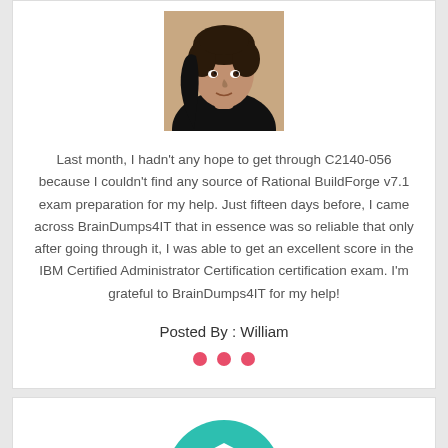[Figure (photo): Circular avatar photo of a young man with dark curly hair wearing a black top, against a light background]
Last month, I hadn't any hope to get through C2140-056 because I couldn't find any source of Rational BuildForge v7.1 exam preparation for my help. Just fifteen days before, I came across BrainDumps4IT that in essence was so reliable that only after going through it, I was able to get an excellent score in the IBM Certified Administrator Certification certification exam. I'm grateful to BrainDumps4IT for my help!
Posted By : William
[Figure (illustration): Three red/pink circles in a row as decorative dots]
[Figure (logo): Teal/turquoise circle containing a white shield icon with a cutout shape inside]